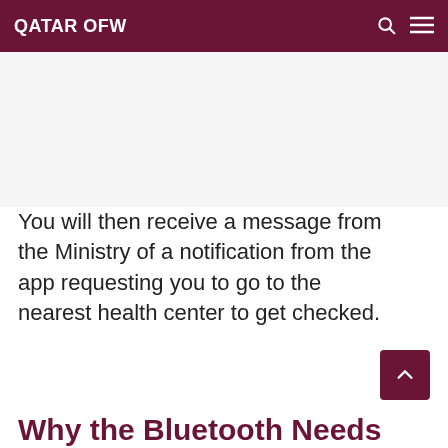QATAR OFW
[Figure (other): Advertisement/blank area]
You will then receive a message from the Ministry of a notification from the app requesting you to go to the nearest health center to get checked.
Why the Bluetooth Needs